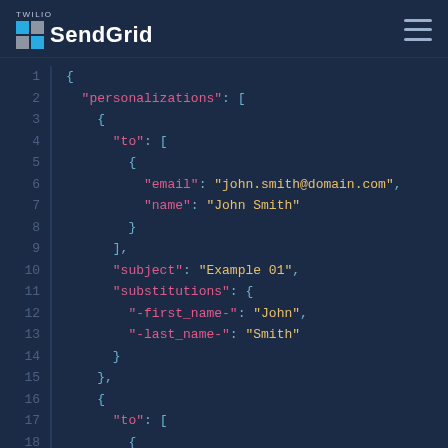[Figure (logo): Twilio SendGrid logo with blue grid icon and white SendGrid text]
JSON code snippet showing SendGrid API personalizations structure with to, email, name, subject, substitutions fields for two recipients: john.smith@domain.com (John Smith) and jane.williams@domain.com (Jane Williams)